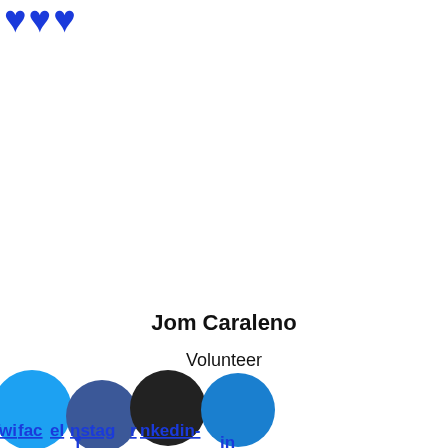...
Jom Caraleno
Volunteer
[Figure (illustration): Four overlapping social media circles (Twitter, Facebook, Instagram, LinkedIn) with social media labels overlaid as underlined blue text links: Twitter, Facebook, Instagram, LinkedIn-in]